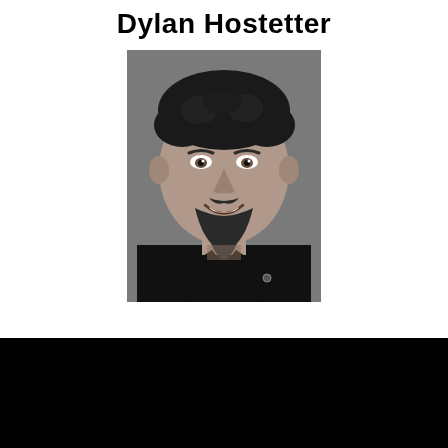Dylan Hostetter
[Figure (photo): Black and white professional headshot of a man with dark curly hair, beard and mustache, smiling, wearing a black shirt, against a gray background.]